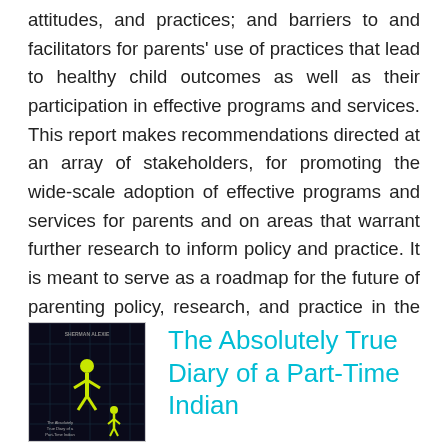attitudes, and practices; and barriers to and facilitators for parents' use of practices that lead to healthy child outcomes as well as their participation in effective programs and services. This report makes recommendations directed at an array of stakeholders, for promoting the wide-scale adoption of effective programs and services for parents and on areas that warrant further research to inform policy and practice. It is meant to serve as a roadmap for the future of parenting policy, research, and practice in the United States.
[Figure (illustration): Book cover of 'The Absolutely True Diary of a Part-Time Indian' by Sherman Alexie, dark background with a yellow illustrated figure]
The Absolutely True Diary of a Part-Time Indian